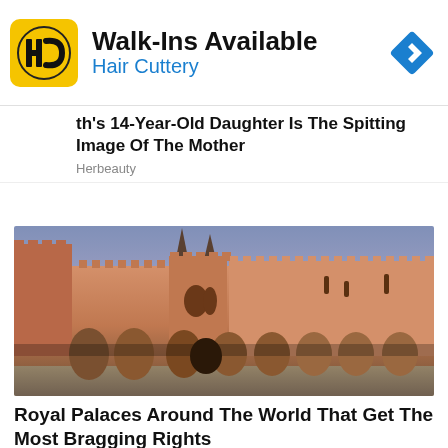[Figure (logo): Hair Cuttery advertisement banner with HC logo, text 'Walk-Ins Available' and 'Hair Cuttery', and a blue navigation diamond icon]
th's 14-Year-Old Daughter Is The Spitting Image Of The Mother
Herbeauty
[Figure (photo): Photograph of a large medieval castle/palace with tall stone towers, Gothic arches, and crenellated walls photographed at dusk with a purple-blue sky]
Royal Palaces Around The World That Get The Most Bragging Rights